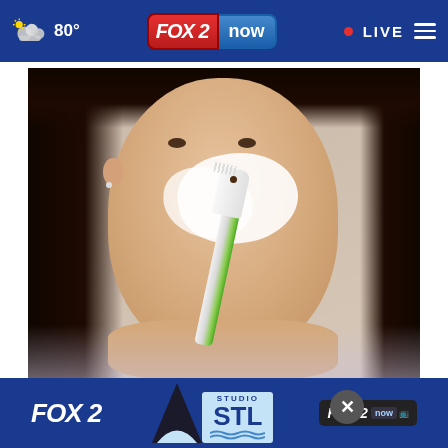FOX 2 now · 80° · LIVE
[Figure (photo): Woman applying white cream or paste to her nose area using a green and white toothbrush, looking at camera]
Removing Moles & Skin Tags Has Never Been This Easy
Mole
[Figure (logo): FOX 2 Studio STL FOX 2 now advertisement banner at bottom of screen]